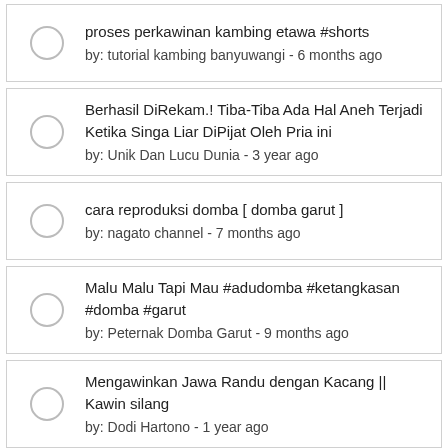proses perkawinan kambing etawa #shorts
by: tutorial kambing banyuwangi - 6 months ago
Berhasil DiRekam.! Tiba-Tiba Ada Hal Aneh Terjadi Ketika Singa Liar DiPijat Oleh Pria ini
by: Unik Dan Lucu Dunia - 3 year ago
cara reproduksi domba [ domba garut ]
by: nagato channel - 7 months ago
Malu Malu Tapi Mau #adudomba #ketangkasan #domba #garut
by: Peternak Domba Garut - 9 months ago
Mengawinkan Jawa Randu dengan Kacang || Kawin silang
by: Dodi Hartono - 1 year ago
Happy breeding, Domba Garut
by: Bibilintik Farm - 1 year ago